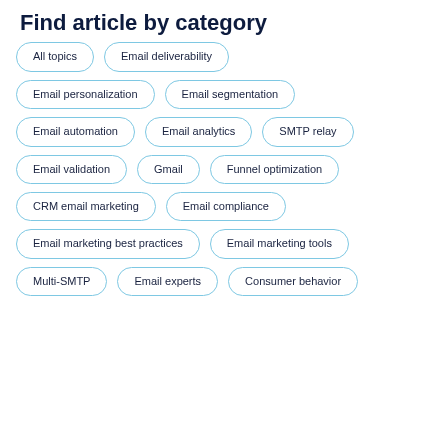Find article by category
All topics
Email deliverability
Email personalization
Email segmentation
Email automation
Email analytics
SMTP relay
Email validation
Gmail
Funnel optimization
CRM email marketing
Email compliance
Email marketing best practices
Email marketing tools
Multi-SMTP
Email experts
Consumer behavior